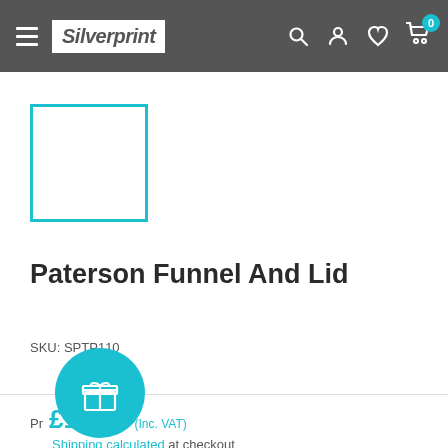Silverprint
[Figure (illustration): Product image placeholder — empty white box with teal/cyan border]
Paterson Funnel And Lid
SKU: SPTP110
Price: £10.48 (Inc. VAT) Shipping calculated at checkout